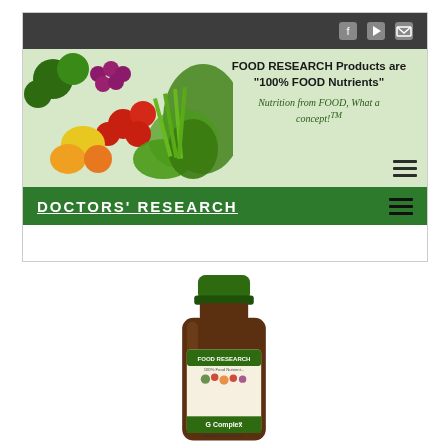[Figure (screenshot): Doctors' Research website screenshot showing banner with food research tagline and navigation bar with green branding]
[Figure (photo): Supplement bottle labeled 'FOOD RESEARCH G Complex TM' with 100% Food Nutrients label showing vegetables and fruits]